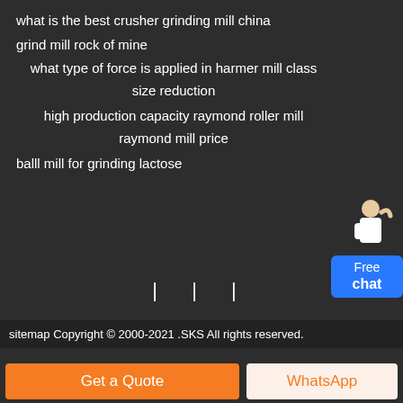what is the best crusher grinding mill china
grind mill rock of mine
what type of force is applied in harmer mill class size reduction
high production capacity raymond roller mill raymond mill price
balll mill for grinding lactose
[Figure (illustration): Chat widget with person figure and blue 'Free chat' button]
[Figure (other): Three social media icons in a row]
sitemap Copyright © 2000-2021 .SKS All rights reserved.
Get a Quote
WhatsApp